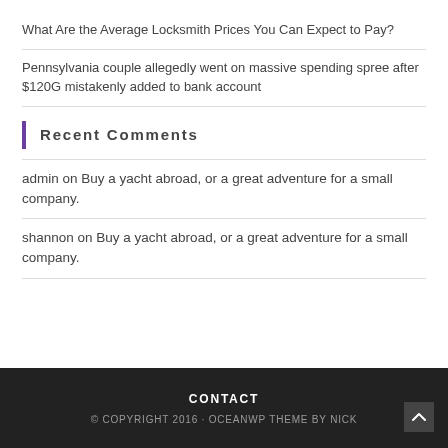What Are the Average Locksmith Prices You Can Expect to Pay?
Pennsylvania couple allegedly went on massive spending spree after $120G mistakenly added to bank account
Recent Comments
admin on Buy a yacht abroad, or a great adventure for a small company.
shannon on Buy a yacht abroad, or a great adventure for a small company.
CONTACT
© COPYRIGHT 2016 · OCEANWP THEME BY NICK